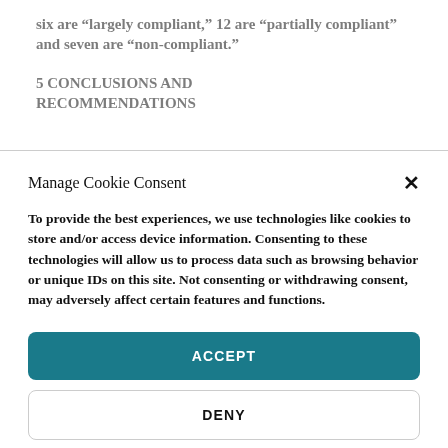six are “largely compliant,” 12 are “partially compliant” and seven are “non-compliant.”
5 CONCLUSIONS AND RECOMMENDATIONS
Manage Cookie Consent
To provide the best experiences, we use technologies like cookies to store and/or access device information. Consenting to these technologies will allow us to process data such as browsing behavior or unique IDs on this site. Not consenting or withdrawing consent, may adversely affect certain features and functions.
ACCEPT
DENY
Privacy Policy & Terms of Use